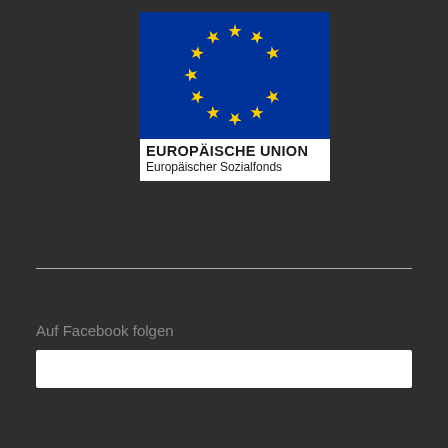[Figure (logo): European Union / Europäischer Sozialfonds logo with EU flag (blue background with 12 yellow stars in a circle) above text reading EUROPÄISCHE UNION and Europäischer Sozialfonds]
Auf Facebook folgen